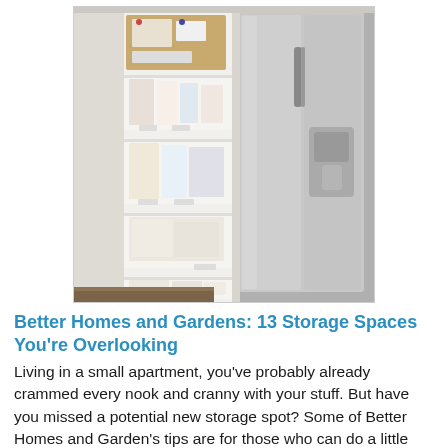[Figure (photo): Photo of a kitchen area showing a white wall-mounted organizer with multiple pocket/shelf tiers holding papers, magazines, and mail, mounted between the wall and a stainless steel side-by-side refrigerator. A cork board is visible at the top of the organizer.]
Better Homes and Gardens: 13 Storage Spaces You're Overlooking
Living in a small apartment, you've probably already crammed every nook and cranny with your stuff. But have you missed a potential new storage spot? Some of Better Homes and Garden's tips are for those who can do a little renovation, but other suggestions, like behind the door or on